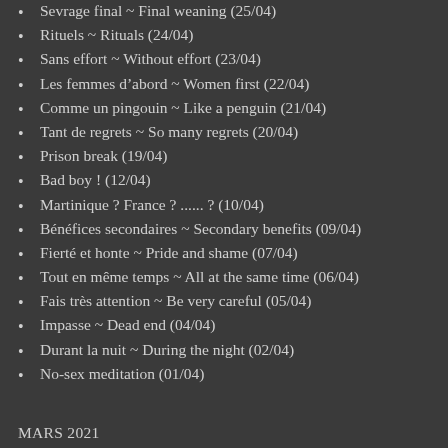Sevrage final ~ Final weaning (25/04)
Rituels ~ Rituals (24/04)
Sans effort ~ Without effort (23/04)
Les femmes d’abord ~ Women first (22/04)
Comme un pingouin ~ Like a penguin (21/04)
Tant de regrets ~ So many regrets (20/04)
Prison break (19/04)
Bad boy ! (12/04)
Martinique ? France ? ...... ? (10/04)
Bénéfices secondaires ~ Secondary benefits (09/04)
Fierté et honte ~ Pride and shame (07/04)
Tout en même temps ~ All at the same time (06/04)
Fais très attention ~ Be very careful (05/04)
Impasse ~ Dead end (04/04)
Durant la nuit ~ During the night (02/04)
No-sex meditation (01/04)
MARS 2021